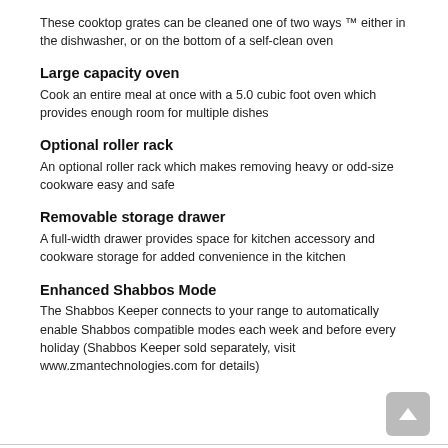These cooktop grates can be cleaned one of two ways ™ either in the dishwasher, or on the bottom of a self-clean oven
Large capacity oven
Cook an entire meal at once with a 5.0 cubic foot oven which provides enough room for multiple dishes
Optional roller rack
An optional roller rack which makes removing heavy or odd-size cookware easy and safe
Removable storage drawer
A full-width drawer provides space for kitchen accessory and cookware storage for added convenience in the kitchen
Enhanced Shabbos Mode
The Shabbos Keeper connects to your range to automatically enable Shabbos compatible modes each week and before every holiday (Shabbos Keeper sold separately, visit www.zmantechnologies.com for details)